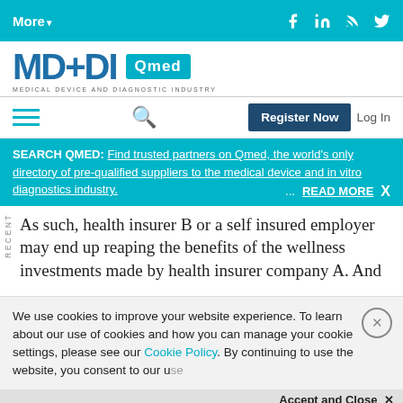More▼  [social icons: Facebook, LinkedIn, RSS, Twitter]
[Figure (logo): MD+DI Qmed logo — Medical Device and Diagnostic Industry]
Hamburger menu | Search icon | Register Now | Log In
SEARCH QMED: Find trusted partners on Qmed, the world's only directory of pre-qualified suppliers to the medical device and in vitro diagnostics industry. ... READ MORE  X
As such, health insurer B or a self insured employer may end up reaping the benefits of the wellness investments made by health insurer company A. And
We use cookies to improve your website experience. To learn about our use of cookies and how you can manage your cookie settings, please see our Cookie Policy. By continuing to use the website, you consent to our use
Accept and Close ✕
Your browser settings do not allow cross-site tracking for advertising. Click on this page to allow AdRoll to use cross-site tracking to tailor ads to you. Learn more or opt out of this AdRoll tracking by clicking here. This message only appears once.